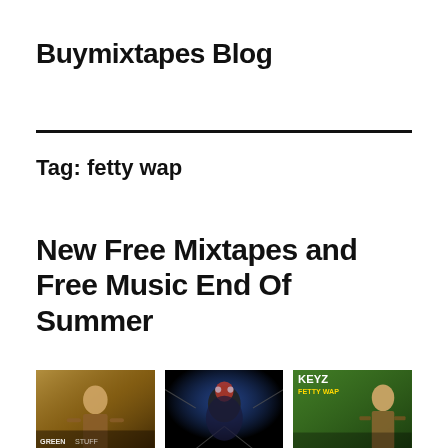Buymixtapes Blog
Tag: fetty wap
New Free Mixtapes and Free Music End Of Summer
[Figure (photo): Album cover image 1 - warm sepia toned photo with figure]
[Figure (photo): Album cover image 2 - dark background with spider/superhero figure]
[Figure (photo): Album cover image 3 - KEYZ FETTY WAP green background with person]